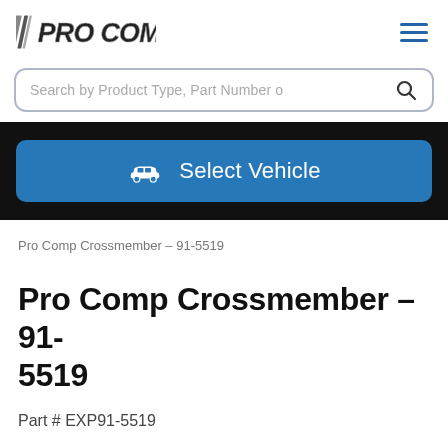[Figure (logo): Pro Comp logo with diagonal stripes and bold italic text]
Search by Product Type, Part Number o
[Figure (infographic): Select Vehicle button with car icon on blue rounded rectangle background on black bar]
Pro Comp Crossmember – 91-5519
Pro Comp Crossmember – 91-5519
Part # EXP91-5519